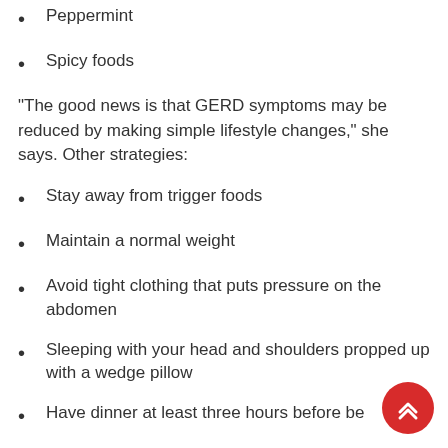Peppermint
Spicy foods
“The good news is that GERD symptoms may be reduced by making simple lifestyle changes,” she says. Other strategies:
Stay away from trigger foods
Maintain a normal weight
Avoid tight clothing that puts pressure on the abdomen
Sleeping with your head and shoulders propped up with a wedge pillow
Have dinner at least three hours before bed